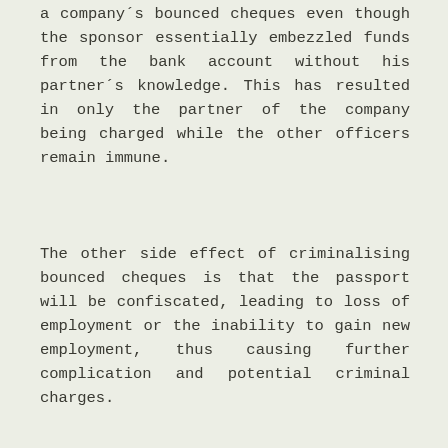a company's bounced cheques even though the sponsor essentially embezzled funds from the bank account without his partner's knowledge. This has resulted in only the partner of the company being charged while the other officers remain immune.
The other side effect of criminalising bounced cheques is that the passport will be confiscated, leading to loss of employment or the inability to gain new employment, thus causing further complication and potential criminal charges.